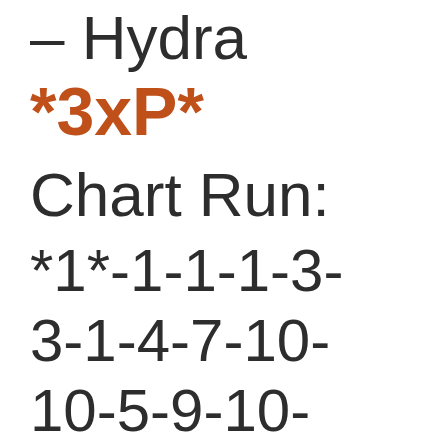– Hydra
*3xP*
Chart Run:
*1*-1-1-1-3-
3-1-4-7-10-
10-5-9-10-